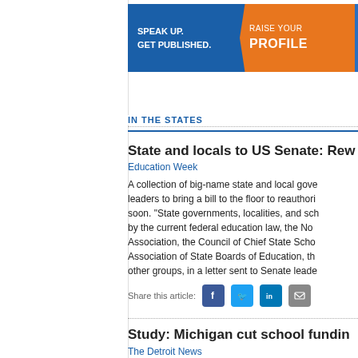[Figure (infographic): Banner ad: SPEAK UP. GET PUBLISHED. RAISE YOUR PROFILE. SEE YOUR FUTURE. Blue and orange promotional banner.]
IN THE STATES
State and locals to US Senate: Rew...
Education Week
A collection of big-name state and local gove... leaders to bring a bill to the floor to reauthori... soon. "State governments, localities, and sch... by the current federal education law, the No... Association, the Council of Chief State Scho... Association of State Boards of Education, th... other groups, in a letter sent to Senate leade...
Share this article:
Study: Michigan cut school fundin...
The Detroit News
Michigan has cut investment in K-12 schools... states, according to a report released by the... policy research organization based in Washi... schools and educated workforces reap the b... moving in the wrong direction by reducing...